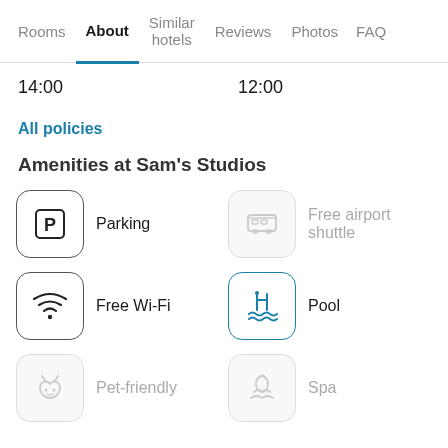Rooms | About | Similar hotels | Reviews | Photos | FAQ
14:00    12:00
All policies
Amenities at Sam's Studios
Parking
Free airport shuttle
Free Wi-Fi
Pool
Pet-friendly
Spa